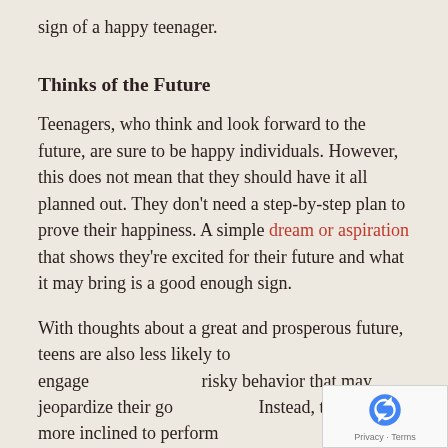sign of a happy teenager.
Thinks of the Future
Teenagers, who think and look forward to the future, are sure to be happy individuals. However, this does not mean that they should have it all planned out. They don't need a step-by-step plan to prove their happiness. A simple dream or aspiration that shows they're excited for their future and what it may bring is a good enough sign.
With thoughts about a great and prosperous future, teens are also less likely to engage in risky behavior that may jeopardize their goals. Instead, they'd be more inclined to perform